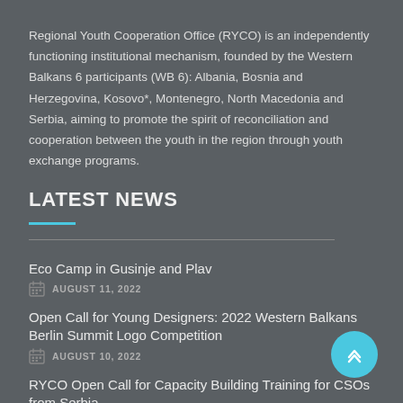Regional Youth Cooperation Office (RYCO) is an independently functioning institutional mechanism, founded by the Western Balkans 6 participants (WB 6): Albania, Bosnia and Herzegovina, Kosovo*, Montenegro, North Macedonia and Serbia, aiming to promote the spirit of reconciliation and cooperation between the youth in the region through youth exchange programs.
LATEST NEWS
Eco Camp in Gusinje and Plav
AUGUST 11, 2022
Open Call for Young Designers: 2022 Western Balkans Berlin Summit Logo Competition
AUGUST 10, 2022
RYCO Open Call for Capacity Building Training for CSOs from Serbia
AUGUST 1, 2022